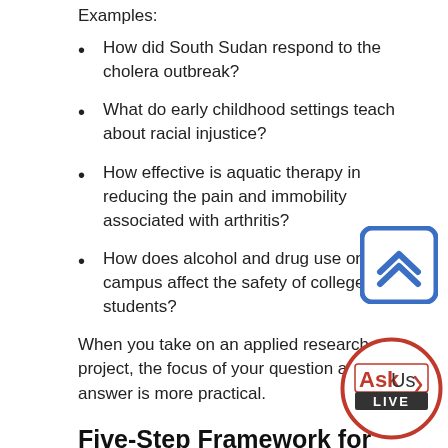Examples:
How did South Sudan respond to the cholera outbreak?
What do early childhood settings teach about racial injustice?
How effective is aquatic therapy in reducing the pain and immobility associated with arthritis?
How does alcohol and drug use on campus affect the safety of college students?
When you take on an applied research project, the focus of your question and answer is more practical.
[Figure (other): Scroll-to-top button: blue rounded square with double chevron up arrow]
[Figure (logo): AskUs LIVE badge: circular red-bordered badge with 'AskUs' in red/dark and 'LIVE' on dark background]
Five-Step Framework for the Applied Research Process